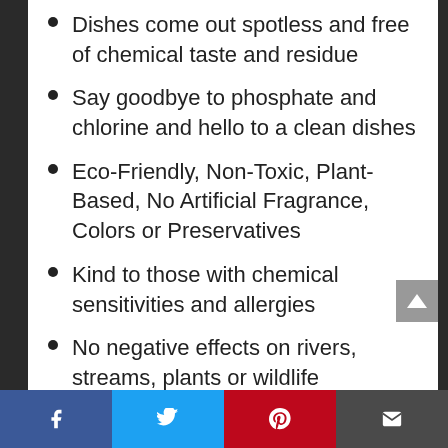Dishes come out spotless and free of chemical taste and residue
Say goodbye to phosphate and chlorine and hello to a clean dishes
Eco-Friendly, Non-Toxic, Plant-Based, No Artificial Fragrance, Colors or Preservatives
Kind to those with chemical sensitivities and allergies
No negative effects on rivers, streams, plants or wildlife
Made in the USA
Facebook | Twitter | Pinterest | Email